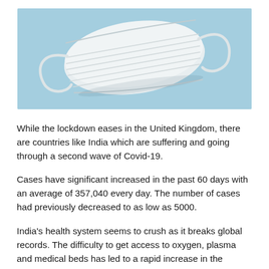[Figure (photo): A white surgical/medical face mask on a light blue background, photographed from above at a slight angle. The mask shows horizontal pleating and white ear loops.]
While the lockdown eases in the United Kingdom, there are countries like India which are suffering and going through a second wave of Covid-19.
Cases have significant increased in the past 60 days with an average of 357,040 every day. The number of cases had previously decreased to as low as 5000.
India's health system seems to crush as it breaks global records. The difficulty to get access to oxygen, plasma and medical beds has led to a rapid increase in the